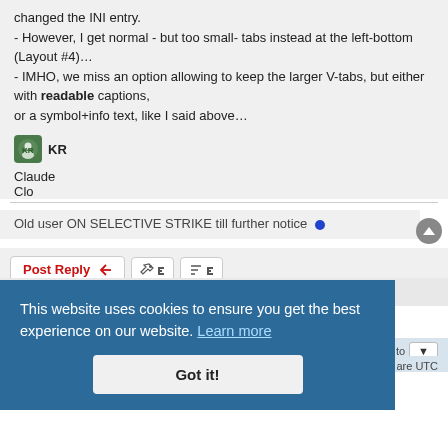changed the INI entry.
- However, I get normal - but too small- tabs instead at the left-bottom (Layout #4)…
- IMHO, we miss an option allowing to keep the larger V-tabs, but either with readable captions,
or a symbol+info text, like I said above…
KR
Claude
Clo
Old user ON SELECTIVE STRIKE till further notice
[Figure (screenshot): Post Reply button with wrench/tools and sort buttons]
[Figure (screenshot): Cookie consent banner: 'This website uses cookies to ensure you get the best experience on our website. Learn more' with 'Got it!' button]
Board index | Delete cookies | All times are UTC
Powered by phpBB® Forum Software © phpBB Limited
Privacy | Terms